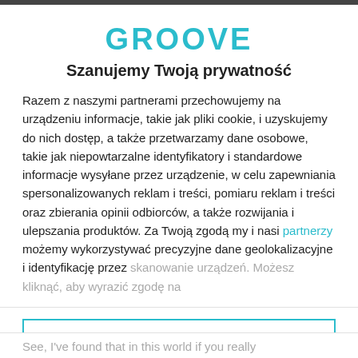GROOVE
Szanujemy Twoją prywatność
Razem z naszymi partnerami przechowujemy na urządzeniu informacje, takie jak pliki cookie, i uzyskujemy do nich dostęp, a także przetwarzamy dane osobowe, takie jak niepowtarzalne identyfikatory i standardowe informacje wysyłane przez urządzenie, w celu zapewniania spersonalizowanych reklam i treści, pomiaru reklam i treści oraz zbierania opinii odbiorców, a także rozwijania i ulepszania produktów. Za Twoją zgodą my i nasi partnerzy możemy wykorzystywać precyzyjne dane geolokalizacyjne i identyfikację przez skanowanie urządzeń. Możesz kliknąć, aby wyrazić zgodę na
AKCEPTUJĘ
WIĘCEJ OPCJI
See, I've found that in this world if you really